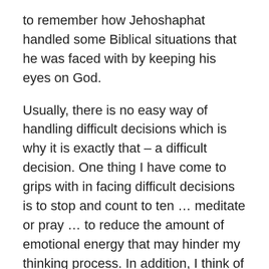to remember how Jehoshaphat handled some Biblical situations that he was faced with by keeping his eyes on God.
Usually, there is no easy way of handling difficult decisions which is why it is exactly that – a difficult decision. One thing I have come to grips with in facing difficult decisions is to stop and count to ten … meditate or pray … to reduce the amount of emotional energy that may hinder my thinking process. In addition, I think of others who may be affected by my decision … those who love me as well as those who would only talk about me. Finally, I look for an opportunity to learn and teach all involved and affected by my decision. That all takes time! Pastor Bob's decisions for the church service as well as scheduled guests for Sunday afternoon and evening services took into account similar considerations, yet on a much higher scale than